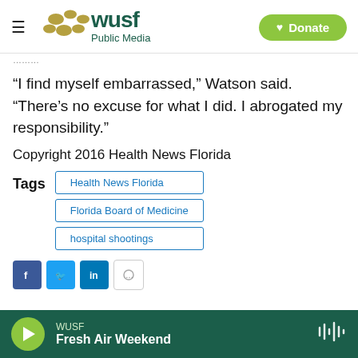[Figure (logo): WUSF Public Media logo with hamburger menu icon and green Donate button]
“I find myself embarrassed,” Watson said. “There’s no excuse for what I did. I abrogated my responsibility.”
Copyright 2016 Health News Florida
Tags: Health News Florida, Florida Board of Medicine, hospital shootings
[Figure (other): WUSF audio player bar at bottom with Fresh Air Weekend show playing]